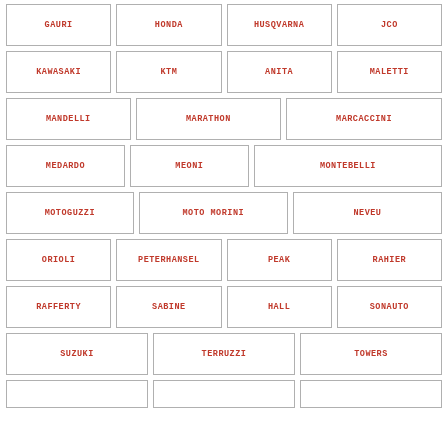GAURI
HONDA
HUSQVARNA
JCO
KAWASAKI
KTM
ANITA
MALETTI
MANDELLI
MARATHON
MARCACCINI
MEDARDO
MEONI
MONTEBELLI
MOTOGUZZI
MOTO MORINI
NEVEU
ORIOLI
PETERHANSEL
PEAK
RAHIER
RAFFERTY
SABINE
HALL
SONAUTO
SUZUKI
TERRUZZI
TOWERS